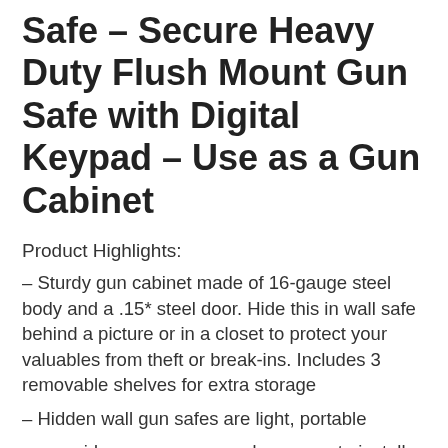Safe – Secure Heavy Duty Flush Mount Gun Safe with Digital Keypad – Use as a Gun Cabinet
Product Highlights:
– Sturdy gun cabinet made of 16-gauge steel body and a .15* steel door. Hide this in wall safe behind a picture or in a closet to protect your valuables from theft or break-ins. Includes 3 removable shelves for extra storage
– Hidden wall gun safes are light, portable
– , provide easy access, and are easy to install. This gun safe for rifles includes electronics to lock the door
– Feel safe behind your walls with this easy-to-access,